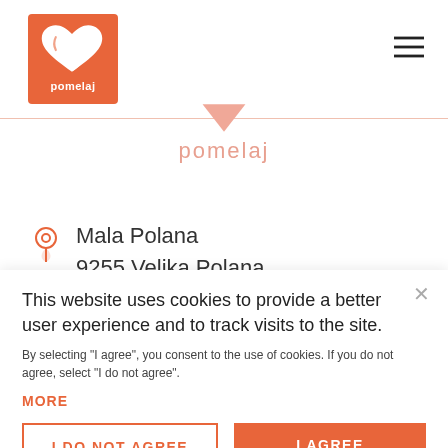[Figure (logo): Pomelaj orange stamp logo with white heart/hand icon and text 'pomelaj']
[Figure (other): Hamburger menu icon (three horizontal lines) in top right corner]
[Figure (other): Pomelaj pink downward arrow/triangle logo centered, with text 'pomelaj' below in pink]
Mala Polana
9255 Velika Polana
MON-FRI: 6:30am-
This website uses cookies to provide a better user experience and to track visits to the site.
By selecting "I agree", you consent to the use of cookies. If you do not agree, select "I do not agree".
MORE
I DO NOT AGREE
I AGREE